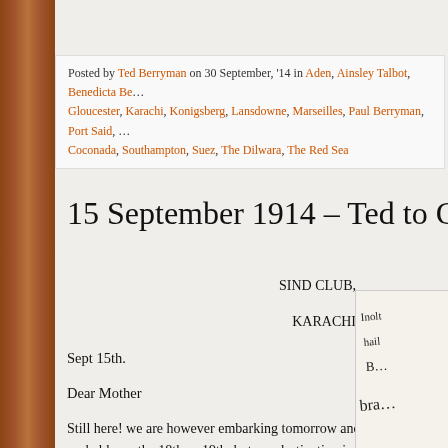Posted by Ted Berryman on 30 September, '14 in Aden, Ainsley Talbot, Benedicta Be… Gloucester, Karachi, Konigsberg, Lansdowne, Marseilles, Paul Berryman, Port Said, … Coconada, Southampton, Suez, The Dilwara, The Red Sea
15 September 1914 – Ted to Ger…
SIND CLUB,
KARACHI
Sept 15th.
Dear Mother
Still here! we are however embarking tomorrow and sail probably on the 18th or 19th, but our destination is unknown at present, but, as you must have seen in the papers, is somewhere in Europe. Ben is supposed to have got a passage in a trooper called
[Figure (photo): A partial photograph showing handwritten text on paper, likely a letter]